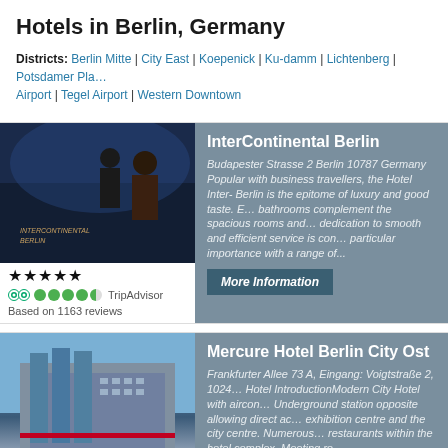Hotels in Berlin, Germany
Districts: Berlin Mitte | City East | Koepenick | Ku-damm | Lichtenberg | Potsdamer Pla... Airport | Tegel Airport | Western Downtown
[Figure (photo): Hotel exterior/interior photo for InterContinental Berlin, showing people in a dark blue-lit lobby/entrance]
★★★★★ TripAdvisor Based on 1163 reviews
InterContinental Berlin
Budapester Strasse 2 Berlin 10787 Germany Popular with business travellers, the Hotel Inter-Berlin is the epitome of luxury and good taste. E... bathrooms complement the spacious rooms and... dedication to smooth and efficient service is con... particular importance with a range of...
More Information
[Figure (photo): Hotel exterior photo for Mercure Hotel Berlin City Ost, showing a modern multi-story building with glass and concrete facade under blue sky]
★★★☆☆
Mercure Hotel Berlin City Ost
Frankfurter Allee 73 A, Eingang: Voigtstraße 2, 1024... Hotel IntroductionModern City Hotel with aircon... Underground station opposite allowing direct ac... exhibition centre and the city centre. Numerous... restaurants within the hotel complex. Meeting ro... available.AccommodationNumber...
More Information